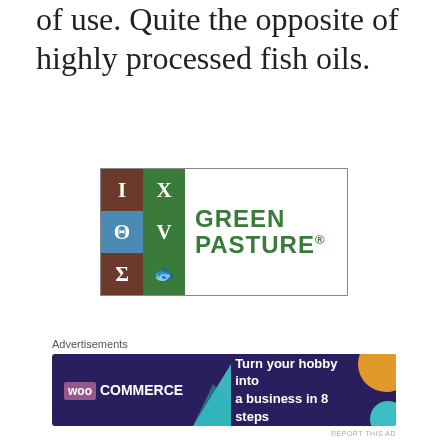of use. Quite the opposite of highly processed fish oils.
[Figure (logo): Green Pasture logo with a 2x3 grid of colored squares containing Greek/symbolic letters (I, X, theta, V, sigma, fish symbol) in brown and green and blue, with the text GREEN PASTURE® in green next to it, all inside a rectangular border.]
Advertisements
[Figure (other): WooCommerce advertisement banner with dark purple/navy background, WooCommerce logo on the left, colorful geometric shapes on the right, and text: Turn your hobby into a business in 8 steps]
REPORT THIS AD
Fermented Cod Liver Oil is simply cod livers fermented naturally to